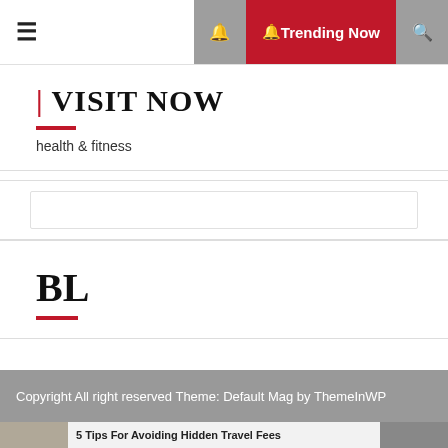☰  🔔  Trending Now  🔍
| VISIT NOW
health & fitness
[Figure (other): Empty white card/box element]
BL
Copyright All right reserved Theme: Default Mag by ThemeInWP
5 Tips For Avoiding Hidden Travel Fees